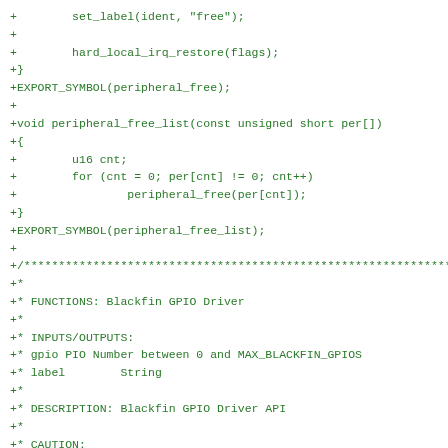+        set_label(ident, "free");
+
+        hard_local_irq_restore(flags);
+}
+EXPORT_SYMBOL(peripheral_free);
+
+void peripheral_free_list(const unsigned short per[])
+{
+        u16 cnt;
+        for (cnt = 0; per[cnt] != 0; cnt++)
+                peripheral_free(per[cnt]);
+}
+EXPORT_SYMBOL(peripheral_free_list);
+
+/******************************************************************
+*
+* FUNCTIONS: Blackfin GPIO Driver
+*
+* INPUTS/OUTPUTS:
+* gpio PIO Number between 0 and MAX_BLACKFIN_GPIOS
+* label        String
+*
+* DESCRIPTION: Blackfin GPIO Driver API
+*
+* CAUTION: